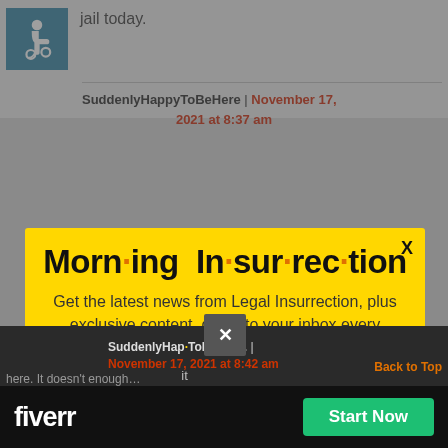jail today.
SuddenlyHappyToBeHere | November 17, 2021 at 8:37 am
[Figure (screenshot): Morning Insurrection newsletter popup modal on yellow background with JOIN NOW button, overlaid on a webpage with a comment section and Fiverr advertisement banner at the bottom.]